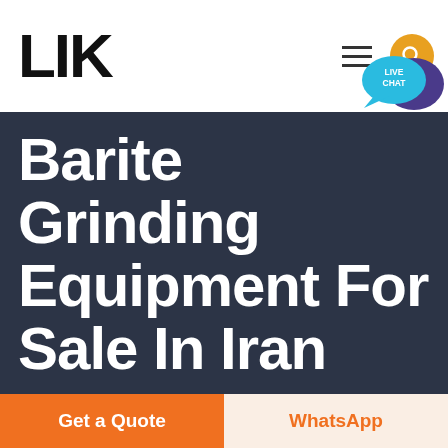LIK
Barite Grinding Equipment For Sale In Iran
[Figure (logo): Live Chat speech bubble icon with teal/purple colors and text LIVE CHAT]
Get a Quote
WhatsApp